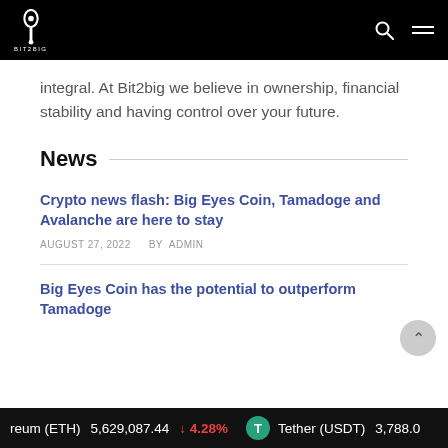Bit2Big
integral. At Bit2big we believe in ownership, financial stability and having control over your future.
News
Crypto news flash: Big Eyes Coin, Tamadoge and Avalanche are here to stay
AUGUST 27, 2022   BY  ADMIN
Big Eyes Coin has the potential to outperform Tamadoge
reum (ETH)   5,629,087.44   ↓4.28%   Tether (USDT)   3,788.0